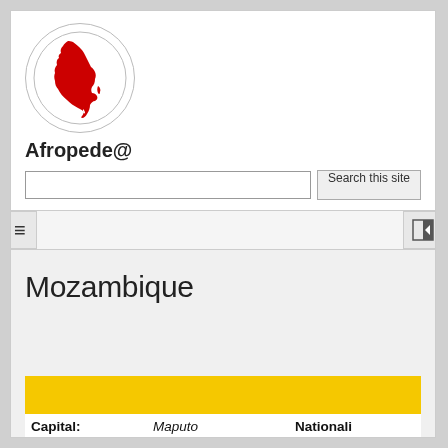[Figure (logo): Circle logo with red Africa continent silhouette on white background]
Afropede@
Search this site
≡
Mozambique
|  |  |  |
| --- | --- | --- |
| Capital: | Maputo | Nationali |
| Currency: | meticais (MZM) | Off. Lang |
| Internet DM: | mz | GDP: |
| Literacy: | 47.8% | Location |